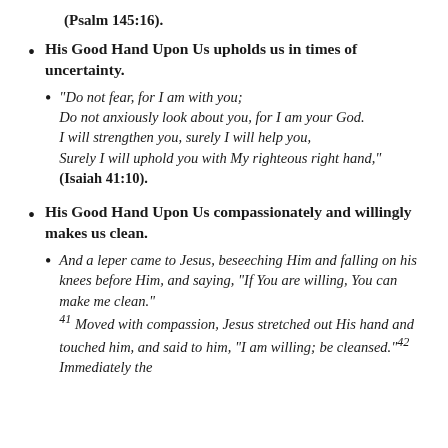(Psalm 145:16).
His Good Hand Upon Us upholds us in times of uncertainty.
“Do not fear, for I am with you; Do not anxiously look about you, for I am your God. I will strengthen you, surely I will help you, Surely I will uphold you with My righteous right hand,” (Isaiah 41:10).
His Good Hand Upon Us compassionately and willingly makes us clean.
And a leper came to Jesus, beseeching Him and falling on his knees before Him, and saying, “If You are willing, You can make me clean.” 41 Moved with compassion, Jesus stretched out His hand and touched him, and said to him, “I am willing; be cleansed.” 42 Immediately the